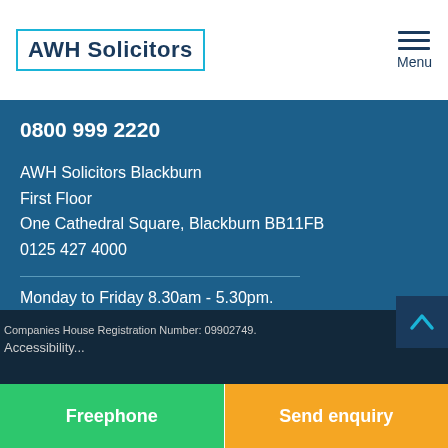AWH Solicitors
0800 999 2220
AWH Solicitors Blackburn
First Floor
One Cathedral Square, Blackburn BB11FB
0125 427 4000
Monday to Friday 8.30am - 5.30pm.
[Figure (other): Social media icons: Facebook, Twitter, LinkedIn]
Companies House Registration Number: 09902749.
Accessibility
Freephone
Send enquiry